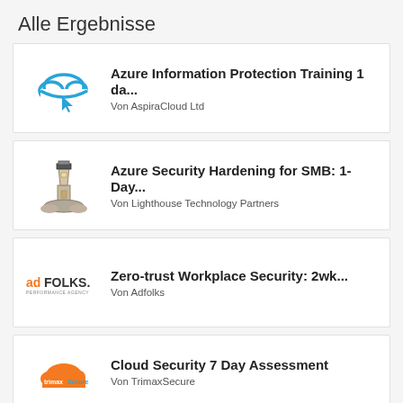Alle Ergebnisse
Azure Information Protection Training 1 da... Von AspiraCloud Ltd
Azure Security Hardening for SMB: 1-Day... Von Lighthouse Technology Partners
Zero-trust Workplace Security: 2wk... Von Adfolks
Cloud Security 7 Day Assessment Von TrimaxSecure